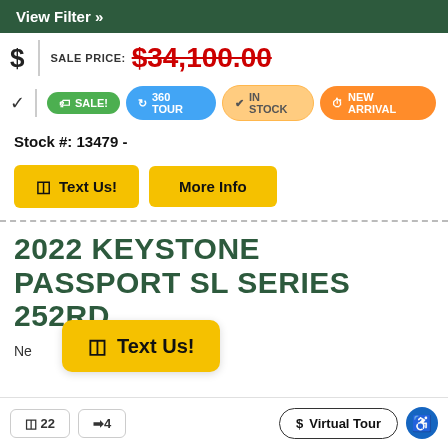View Filter »
SALE PRICE: $34,100.00
SALE! | 360 TOUR | IN STOCK | NEW ARRIVAL
Stock #: 13479 -
Text Us! | More Info
2022 KEYSTONE PASSPORT SL SERIES 252RD
Ne
Text Us!
Virtual Tour